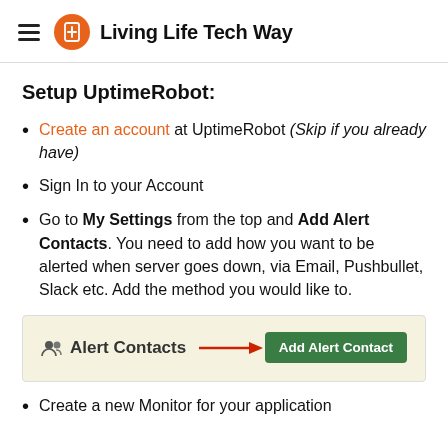Living Life Tech Way
Setup UptimeRobot:
Create an account at UptimeRobot (Skip if you already have)
Sign In to your Account
Go to My Settings from the top and Add Alert Contacts. You need to add how you want to be alerted when server goes down, via Email, Pushbullet, Slack etc. Add the method you would like to.
[Figure (screenshot): Screenshot of UptimeRobot UI showing Alert Contacts section with a red arrow pointing to the green Add Alert Contact button]
Create a new Monitor for your application